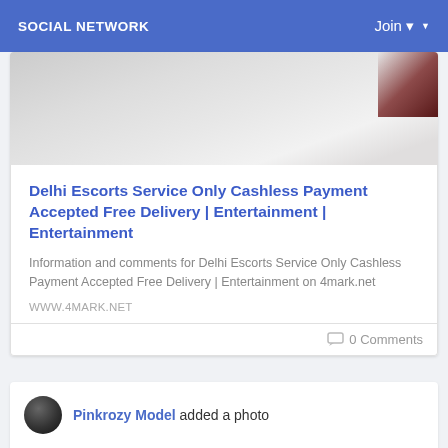SOCIAL NETWORK   Join
[Figure (photo): Blurred photo with white/gray background and dark red corner element visible at top right]
Delhi Escorts Service Only Cashless Payment Accepted Free Delivery | Entertainment | Entertainment
Information and comments for Delhi Escorts Service Only Cashless Payment Accepted Free Delivery | Entertainment on 4mark.net
WWW.4MARK.NET
0 Comments
Pinkrozy Model added a photo